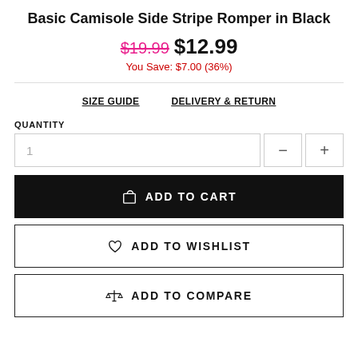Basic Camisole Side Stripe Romper in Black
$19.99 $12.99
You Save: $7.00 (36%)
SIZE GUIDE   DELIVERY & RETURN
QUANTITY
1
ADD TO CART
ADD TO WISHLIST
ADD TO COMPARE